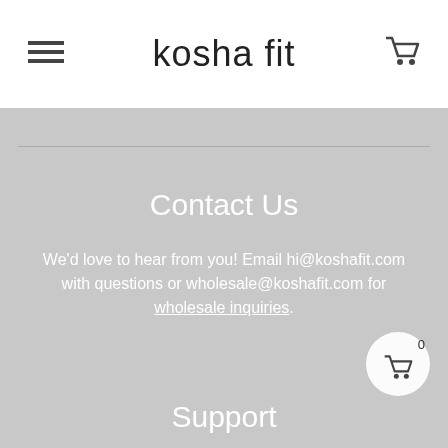kosha fit
Contact Us
We'd love to hear from you! Email hi@koshafit.com with questions or wholesale@koshafit.com for wholesale inquiries.
Support
FAQs
Size Guide
Shipping